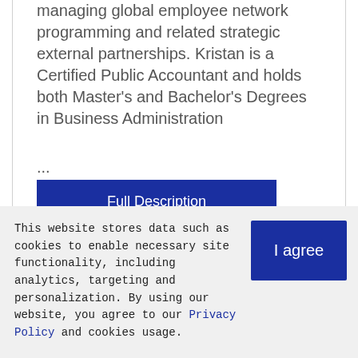managing global employee network programming and related strategic external partnerships. Kristan is a Certified Public Accountant and holds both Master's and Bachelor's Degrees in Business Administration
...
Full Description
Mi... [partially visible button]
This website stores data such as cookies to enable necessary site functionality, including analytics, targeting and personalization. By using our website, you agree to our Privacy Policy and cookies usage.
I agree